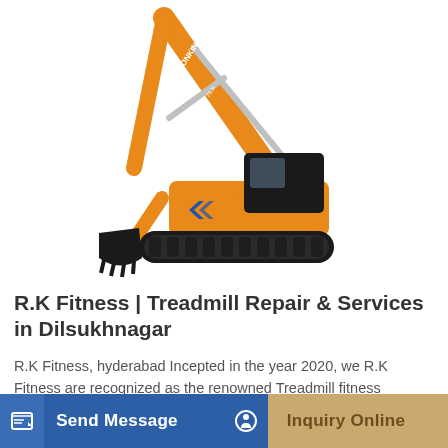[Figure (photo): Yellow Lonking excavator/crawler machine with black bucket and tracks on white background]
R.K Fitness | Treadmill Repair & Services in Dilsukhnagar
R.K Fitness, hyderabad Incepted in the year 2020, we R.K Fitness are recognized as the renowned Treadmill fitness equipment's and all Gym Equipment's Repair and service...
Send Message
Inquiry Online